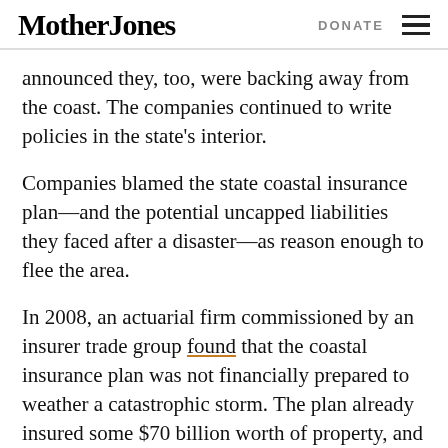Mother Jones | DONATE
announced they, too, were backing away from the coast. The companies continued to write policies in the state's interior.
Companies blamed the state coastal insurance plan—and the potential uncapped liabilities they faced after a disaster—as reason enough to flee the area.
In 2008, an actuarial firm commissioned by an insurer trade group found that the coastal insurance plan was not financially prepared to weather a catastrophic storm. The plan already insured some $70 billion worth of property, and was adding about $1 billion in exposure every month, according to reports, yet it had no more than $1.5 billion in cash